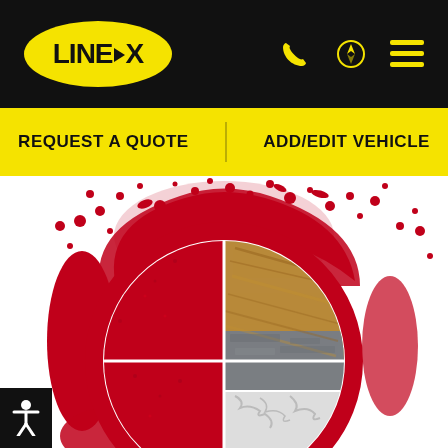[Figure (logo): LINE-X logo: yellow oval with bold black text LINE-X with an arrow between LINE and X, on black header bar with phone icon, location/navigation icon, and hamburger menu icon in yellow on the right]
REQUEST A QUOTE
ADD/EDIT VEHICLE
[Figure (photo): Marketing image showing a large red paint splatter/explosion effect around a circular element divided into quadrants showing different surface textures: red textured coating (top-left), wood grain (top-right), gray stone/concrete (middle-right), white crinkled texture (bottom-right), and red textured coating (bottom-left). A bold red circular ring frames the quadrant textures.]